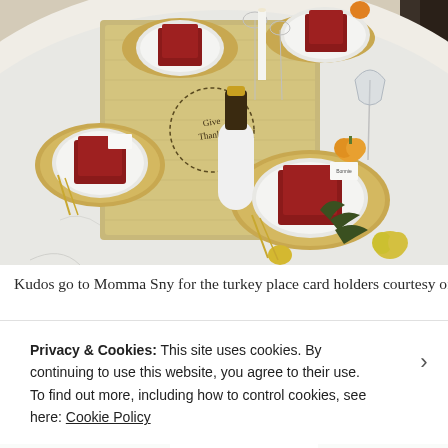[Figure (photo): A Thanksgiving table setting with white tablecloth, burlap/wicker table runner, red folded napkins on white plates, wine glasses, candles, small pumpkins as decorations, a wine bottle in a white chiller, and gold flatware. Multiple place settings visible.]
Kudos go to Momma Sny for the turkey place card holders courtesy of
Privacy & Cookies: This site uses cookies. By continuing to use this website, you agree to their use.
To find out more, including how to control cookies, see here: Cookie Policy
Close and accept